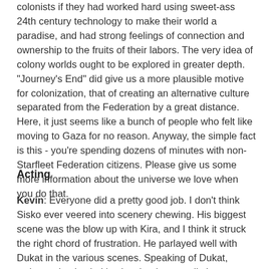colonists if they had worked hard using sweet-ass 24th century technology to make their world a paradise, and had strong feelings of connection and ownership to the fruits of their labors. The very idea of colony worlds ought to be explored in greater depth. "Journey's End" did give us a more plausible motive for colonization, that of creating an alternative culture separated from the Federation by a great distance. Here, it just seems like a bunch of people who felt like moving to Gaza for no reason. Anyway, the simple fact is this - you're spending dozens of minutes with non-Starfleet Federation citizens. Please give us some more information about the universe we love when you do that.
Acting
Kevin: Everyone did a pretty good job. I don't think Sisko ever veered into scenery chewing. His biggest scene was the blow up with Kira, and I think it struck the right chord of frustration. He parlayed well with Dukat in the various scenes. Speaking of Dukat, welcome back, sir. It's nice that he actually has something to do. Hudson was just okay for me. I don't know if it was just a style choice, but his